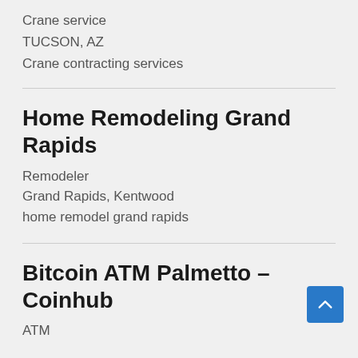Crane service
TUCSON, AZ
Crane contracting services
Home Remodeling Grand Rapids
Remodeler
Grand Rapids, Kentwood
home remodel grand rapids
Bitcoin ATM Palmetto – Coinhub
ATM